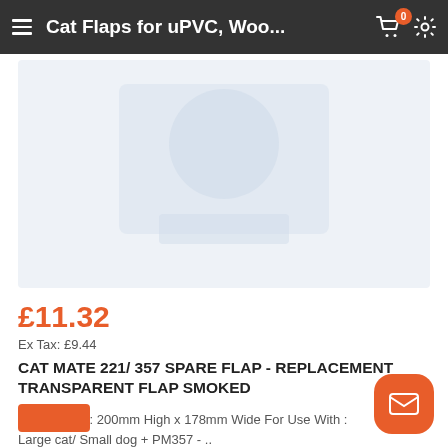Cat Flaps for uPVC, Woo...
[Figure (photo): Product image placeholder - light blue/grey rectangular area showing a faint product outline]
£11.32
Ex Tax: £9.44
CAT MATE 221/ 357 SPARE FLAP - REPLACEMENT TRANSPARENT FLAP SMOKED
Dimensions : 200mm High x 178mm Wide For Use With : Large cat/ Small dog + PM357 - ..